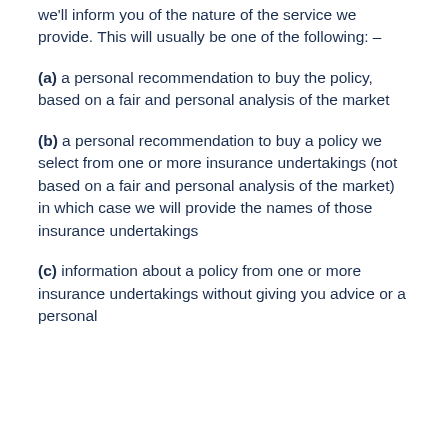we'll inform you of the nature of the service we provide. This will usually be one of the following: –
(a) a personal recommendation to buy the policy, based on a fair and personal analysis of the market
(b) a personal recommendation to buy a policy we select from one or more insurance undertakings (not based on a fair and personal analysis of the market) in which case we will provide the names of those insurance undertakings
(c) information about a policy from one or more insurance undertakings without giving you advice or a personal